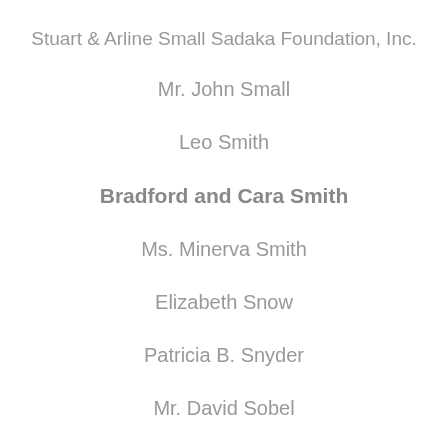Stuart & Arline Small Sadaka Foundation, Inc.
Mr. John Small
Leo Smith
Bradford and Cara Smith
Ms. Minerva Smith
Elizabeth Snow
Patricia B. Snyder
Mr. David Sobel
Ruth & Howard Sovronsky
Mr. Joseph Spada